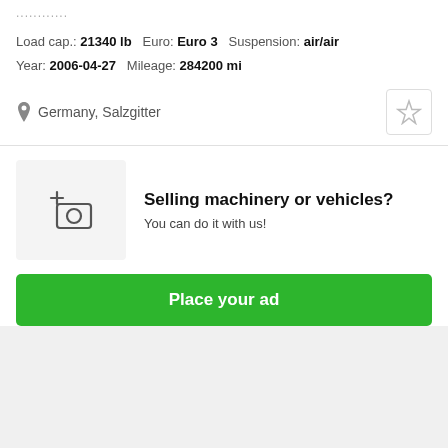…………
Load cap.: 21340 lb   Euro: Euro 3   Suspension: air/air
Year: 2006-04-27   Mileage: 284200 mi
Germany, Salzgitter
[Figure (illustration): Camera add icon in a light gray box representing 'place an ad' functionality]
Selling machinery or vehicles? You can do it with us!
Place your ad